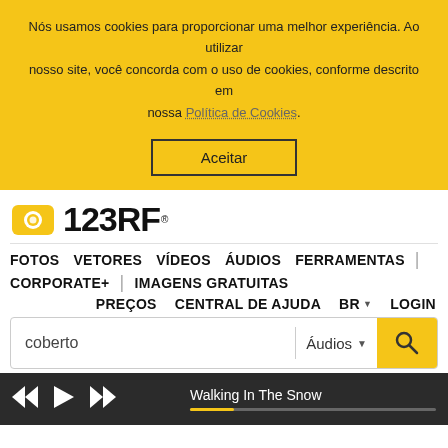Nós usamos cookies para proporcionar uma melhor experiência. Ao utilizar nosso site, você concorda com o uso de cookies, conforme descrito em nossa Política de Cookies.
Aceitar
[Figure (logo): 123RF logo with yellow camera icon and bold black text '123RF']
FOTOS  VETORES  VÍDEOS  ÁUDIOS  FERRAMENTAS  |  CORPORATE+  |  IMAGENS GRATUITAS
PREÇOS  CENTRAL DE AJUDA  BR  LOGIN
coberto
Áudios
Walking In The Snow